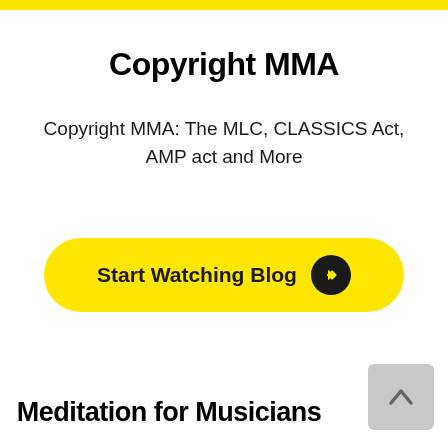[Figure (other): Yellow horizontal bar at top of page]
Copyright MMA
Copyright MMA: The MLC, CLASSICS Act, AMP act and More
[Figure (other): Yellow rounded button with text 'Start Watching Blog' and black circle arrow icon]
Meditation for Musicians
[Figure (other): Gray scroll-to-top button with upward chevron arrow]